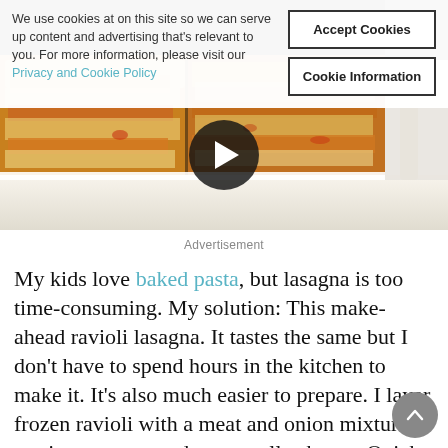[Figure (photo): Lasagna in a white baking dish with melted cheese, shown with a play button overlay for video content]
We use cookies at on this site so we can serve up content and advertising that's relevant to you. For more information, please visit our Privacy and Cookie Policy
Accept Cookies
Cookie Information
Advertisement
My kids love baked pasta, but lasagna is too time-consuming. My solution: This make-ahead ravioli lasagna. It tastes the same but I don't have to spend hours in the kitchen to make it. It's also much easier to prepare. I layer frozen ravioli with a meat and onion mixture, marinara sauce, and mozzarella cheese. Quick,